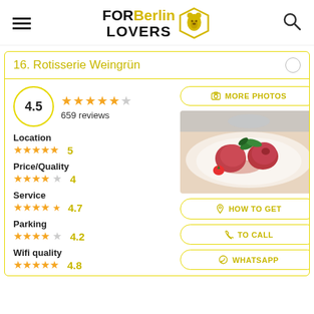FOR Berlin LOVERS
16. Rotisserie Weingrün
4.5 — ★★★★½ — 659 reviews
[Figure (photo): Food photo showing red/pink ice cream scoops with mint garnish on a white plate]
Location ★★★★★ 5
Price/Quality ★★★★☆ 4
Service ★★★★½ 4.7
Parking ★★★★☆ 4.2
Wifi quality ★★★★★ 4.8